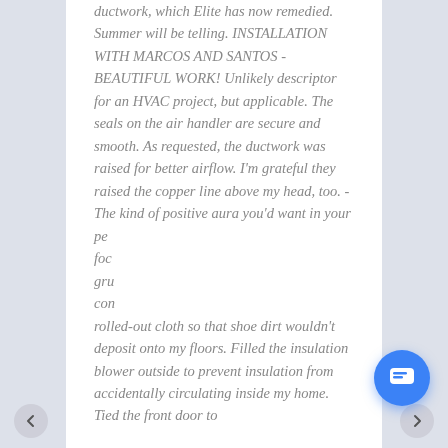ductwork, which Elite has now remedied. Summer will be telling. INSTALLATION WITH MARCOS AND SANTOS - BEAUTIFUL WORK! Unlikely descriptor for an HVAC project, but applicable. The seals on the air handler are secure and smooth. As requested, the ductwork was raised for better airflow. I'm grateful they raised the copper line above my head, too. - The kind of positive aura you'd want in your pe[rson focused gru...] con[...] rolled-out cloth so that shoe dirt wouldn't deposit onto my floors. Filled the insulation blower outside to prevent insulation from accidentally circulating inside my home. Tied the front door to
[Figure (screenshot): Chat widget popup with close button, avatar of a woman, and message 'Hi there, have a question? Text us here.' with blue chat bubble button]